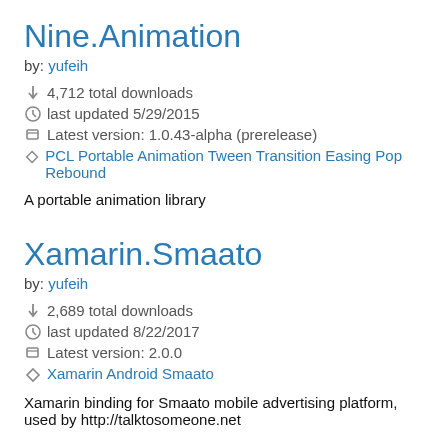Nine.Animation
by: yufeih
↓ 4,712 total downloads
last updated 5/29/2015
Latest version: 1.0.43-alpha (prerelease)
PCL Portable Animation Tween Transition Easing Pop Rebound
A portable animation library
Xamarin.Smaato
by: yufeih
↓ 2,689 total downloads
last updated 8/22/2017
Latest version: 2.0.0
Xamarin Android Smaato
Xamarin binding for Smaato mobile advertising platform, used by http://talktosomeone.net